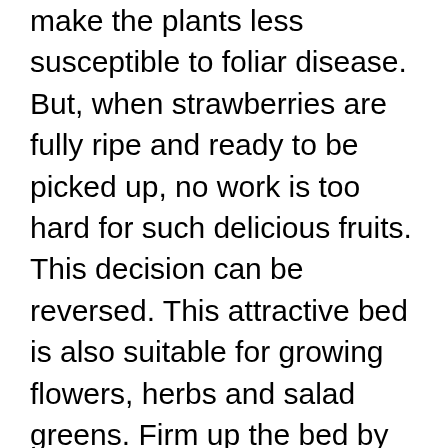make the plants less susceptible to foliar disease. But, when strawberries are fully ripe and ready to be picked up, no work is too hard for such delicious fruits. This decision can be reversed. This attractive bed is also suitable for growing flowers, herbs and salad greens. Firm up the bed by lightly treading with your boots. Growing Strawberries in Raised Beds Here I'll cover all the basics of growing strawberries in raised beds. Make planting holes with a trowel, setting the plants in place and firming soil around the roots. Fill it with a high-quality potting mix or make your own by mixing equal parts potting mix, loamy garden soil and compost. If you have a clay-based soil, improve its drainage by adding some sand, grit or perlite.